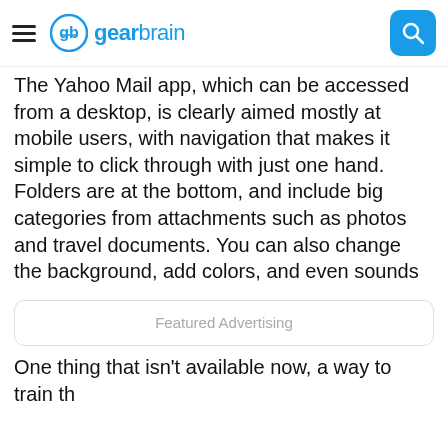gearbrain
The Yahoo Mail app, which can be accessed from a desktop, is clearly aimed mostly at mobile users, with navigation that makes it simple to click through with just one hand. Folders are at the bottom, and include big categories from attachments such as photos and travel documents. You can also change the background, add colors, and even sounds and GIFs to create a more personal look. Other customizations include choosing which notifications you allow popping up on your screen, and a way to opt out of email subscriptions.
Featured Advertising
One thing that isn't available now, a way to train th